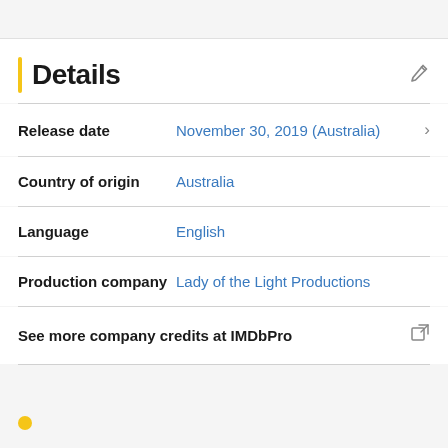Details
Release date   November 30, 2019 (Australia)
Country of origin   Australia
Language   English
Production company   Lady of the Light Productions
See more company credits at IMDbPro